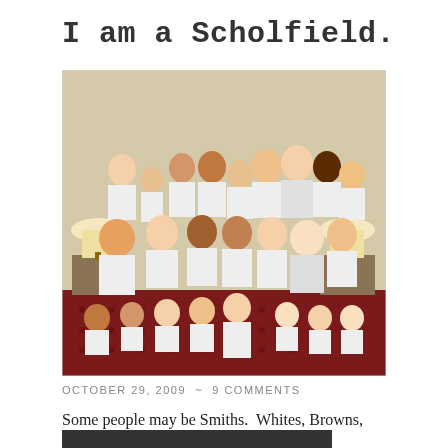I am a Scholfield.
[Figure (photo): Group family photo of approximately 30 people, mostly wearing white t-shirts, gathered in a room with patterned carpet and lamps. Multiple generations visible including children, adults, and elderly.]
OCTOBER 29, 2009  ~  9 COMMENTS
Some people may be Smiths.  Whites, Browns, Blacks or Greens.  But Me?  I am a SCHOLFIELD.